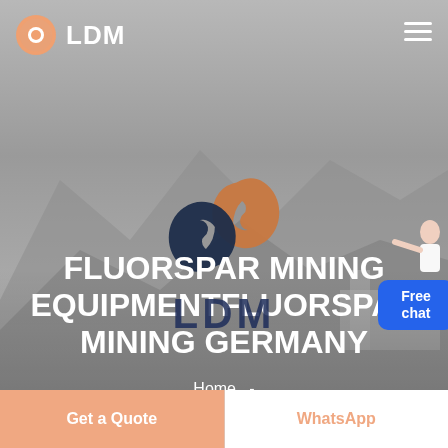[Figure (screenshot): Website screenshot of LDM mining equipment company page with gray mountainous background hero image]
LDM
[Figure (logo): LDM company logo - a spiral/swirl design in orange/copper and dark navy blue colors]
FLUORSPAR MINING EQUIPMENTFLUORSPAR MINING GERMANY
Home  -
Get a Quote
WhatsApp